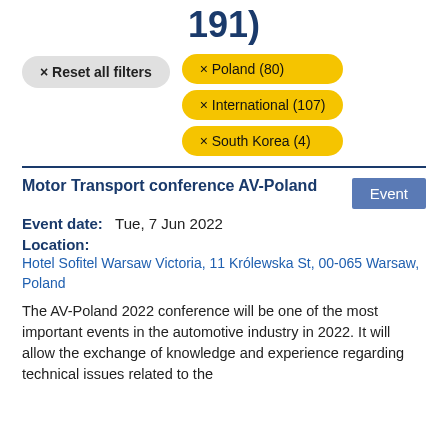191)
× Reset all filters
× Poland (80)
× International (107)
× South Korea (4)
Motor Transport conference AV-Poland
Event
Event date:   Tue, 7 Jun 2022
Location:
Hotel Sofitel Warsaw Victoria, 11 Królewska St, 00-065 Warsaw, Poland
The AV-Poland 2022 conference will be one of the most important events in the automotive industry in 2022. It will allow the exchange of knowledge and experience regarding technical issues related to the